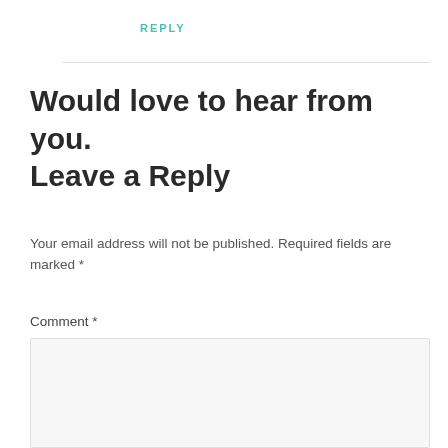REPLY
Would love to hear from you. Leave a Reply
Your email address will not be published. Required fields are marked *
Comment *